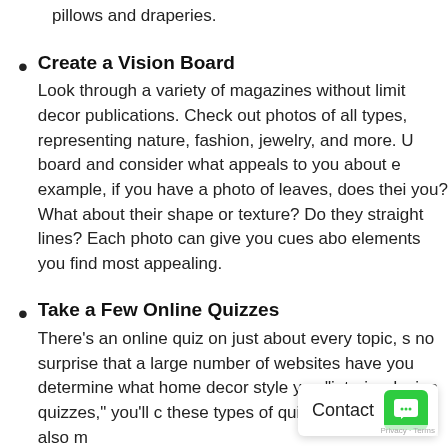pillows and draperies.
Create a Vision Board
Look through a variety of magazines without limit decor publications. Check out photos of all types, representing nature, fashion, jewelry, and more. U board and consider what appeals to you about e example, if you have a photo of leaves, does thei you? What about their shape or texture? Do they straight lines? Each photo can give you cues abo elements you find most appealing.
Take a Few Online Quizzes
There's an online quiz on just about every topic, s no surprise that a large number of websites have you determine what home decor style yo "interior design quizzes," you'll c these types of quizzes fun, but they also m